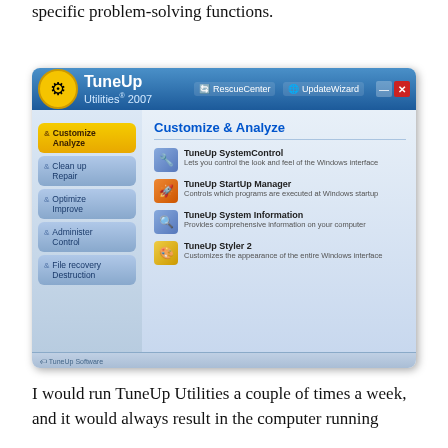specific problem-solving functions.
[Figure (screenshot): Screenshot of TuneUp Utilities 2007 application showing the main interface with Customize & Analyze section selected. Left sidebar shows categories: Customize & Analyze (active/highlighted in yellow), Clean up & Repair, Optimize & Improve, Administer & Control, File recovery & Destruction. Right panel shows: TuneUp SystemControl, TuneUp StartUp Manager, TuneUp System Information, TuneUp Styler 2. Title bar shows TuneUp Utilities 2007 with RescueCenter and UpdateWizard buttons.]
I would run TuneUp Utilities a couple of times a week, and it would always result in the computer running